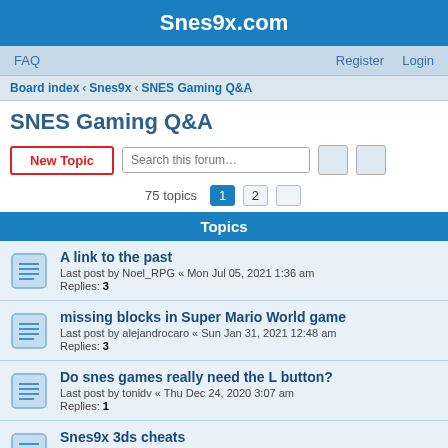Snes9x.com
FAQ   Register   Login
Board index › Snes9x › SNES Gaming Q&A
SNES Gaming Q&A
New Topic   Search this forum…
75 topics   1   2
Topics
A link to the past
Last post by Noel_RPG « Mon Jul 05, 2021 1:36 am
Replies: 3
missing blocks in Super Mario World game
Last post by alejandrocaro « Sun Jan 31, 2021 12:48 am
Replies: 3
Do snes games really need the L button?
Last post by tonidv « Thu Dec 24, 2020 3:07 am
Replies: 1
Snes9x 3ds cheats
Last post by Martinelplayz « Wed Jul 29, 2020 6:57 pm
Replies: 2